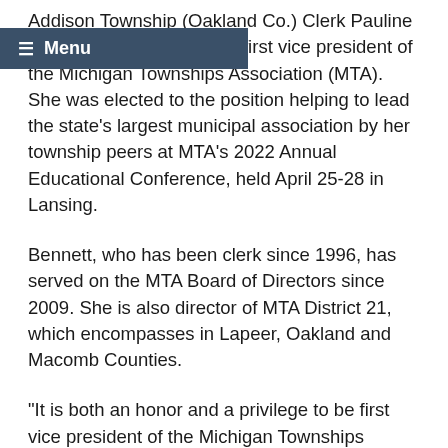Addison Township (Oakland Co.) Clerk Pauline Bennett has been elected first vice president of the Michigan Townships Association (MTA). She was elected to the position helping to lead the state's largest municipal association by her township peers at MTA's 2022 Annual Educational Conference, held April 25-28 in Lansing.
Bennett, who has been clerk since 1996, has served on the MTA Board of Directors since 2009. She is also director of MTA District 21, which encompasses in Lapeer, Oakland and Macomb Counties.
“It is both an honor and a privilege to be first vice president of the Michigan Townships Association,” Bennett said. “I am very thankful to be part of this incredible team. MTA and its members continually inspire me. This is a strong organization with a mission of moving township government into the future through education and advocating legislation. I’m